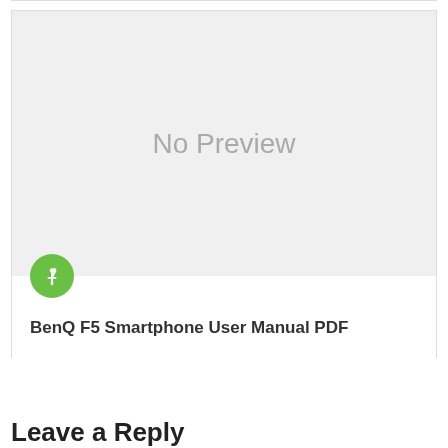[Figure (other): A card with a light gray 'No Preview' placeholder image area, a green circular pin icon, and the title 'BenQ F5 Smartphone User Manual PDF' below.]
Leave a Reply